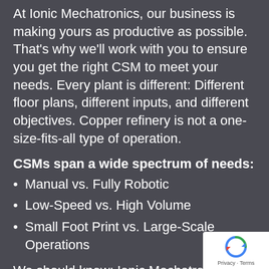At Ionic Mechatronics, our business is making yours as productive as possible. That's why we'll work with you to ensure you get the right CSM to meet your needs. Every plant is different: Different floor plans, different inputs, and different objectives. Copper refinery is not a one-size-fits-all type of operation.
CSMs span a wide spectrum of needs:
Manual vs. Fully Robotic
Low-Speed vs. High Volume
Small Foot Print vs. Large-Scale Operations
We should know: Ionic Mechatronics was the very first company on the
[Figure (logo): reCAPTCHA badge with rotating arrows icon and Privacy - Terms text]